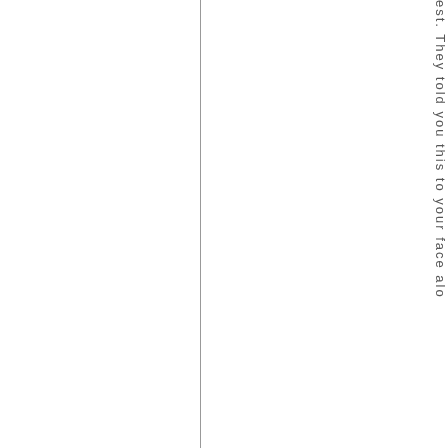est. They told you this to your face alo